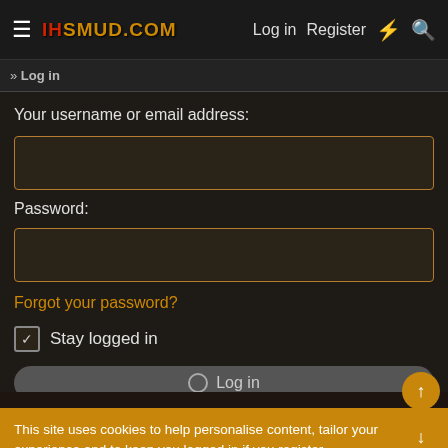IHSMUD.COM  Log in  Register
Log in
Your username or email address:
Password:
Forgot your password?
Stay logged in
Log in
This site uses cookies to help personalise content, tailor your experience and to keep you logged in if you register.
By continuing to use this site, you are consenting to our use of cookies.
Accept
Learn more...